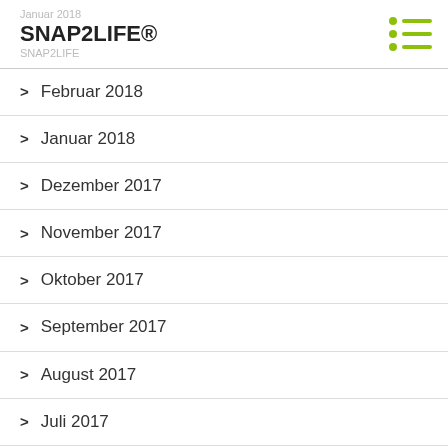SNAP2LIFE®
> Februar 2018
> Januar 2018
> Dezember 2017
> November 2017
> Oktober 2017
> September 2017
> August 2017
> Juli 2017
> Juni 2017
> Mai 2017
> April 2017